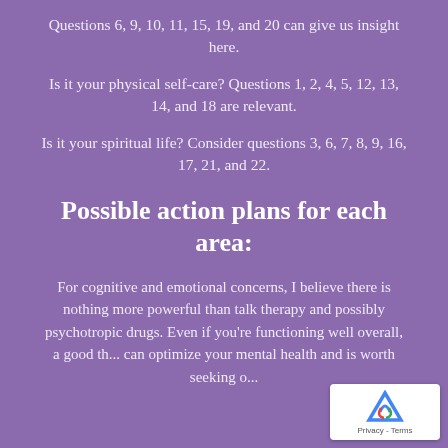Questions 6, 9, 10, 11, 15, 19, and 20 can give us insight here.
Is it your physical self-care? Questions 1, 2, 4, 5, 12, 13, 14, and 18 are relevant.
Is it your spiritual life? Consider questions 3, 6, 7, 8, 9, 16, 17, 21, and 22.
Possible action plans for each area:
For cognitive and emotional concerns, I believe there is nothing more powerful than talk therapy and possibly psychotropic drugs. Even if you're functioning well overall, a good th... can optimize your mental health and is worth seeking o...